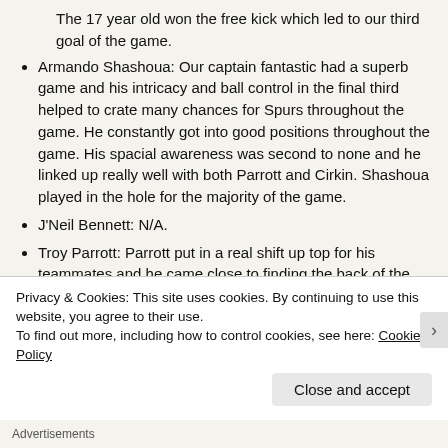The 17 year old won the free kick which led to our third goal of the game.
Armando Shashoua: Our captain fantastic had a superb game and his intricacy and ball control in the final third helped to crate many chances for Spurs throughout the game. He constantly got into good positions throughout the game. His spacial awareness was second to none and he linked up really well with both Parrott and Cirkin. Shashoua played in the hole for the majority of the game.
J'Neil Bennett: N/A.
Troy Parrott: Parrott put in a real shift up top for his teammates and he came close to finding the back of the net on a couple of occasions during the first half. Parrot was very unselfish in his play and he did a good job at holding up the ball and creating chances for the other attacking
Privacy & Cookies: This site uses cookies. By continuing to use this website, you agree to their use. To find out more, including how to control cookies, see here: Cookie Policy
Close and accept
Advertisements